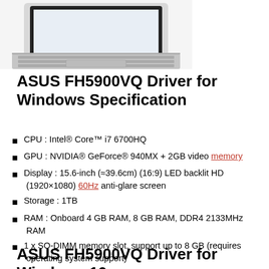[Figure (photo): Partial photo of ASUS laptop showing top portion — keyboard and casing visible, cropped at top of page]
ASUS FH5900VQ Driver for Windows Specification
CPU : Intel® Core™ i7 6700HQ
GPU : NVIDIA® GeForce® 940MX + 2GB video memory
Display : 15.6-inch (≈39.6cm) (16:9) LED backlit HD (1920×1080) 60Hz anti-glare screen
Storage : 1TB
RAM : Onboard 4 GB RAM, 8 GB RAM, DDR4 2133MHz RAM
1 x SO-DIMM memory slot, support up to 8 GB (requires operating system support)
ASUS FH5900VQ Driver for Windows 10